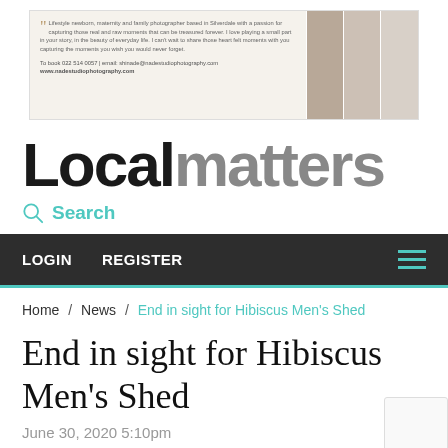[Figure (photo): Advertisement banner for Nade Studio Photography with quote text and three portrait photos]
Localmatters
Search
LOGIN  REGISTER
Home / News / End in sight for Hibiscus Men's Shed
End in sight for Hibiscus Men's Shed
June 30, 2020 5:10pm
Local Matters